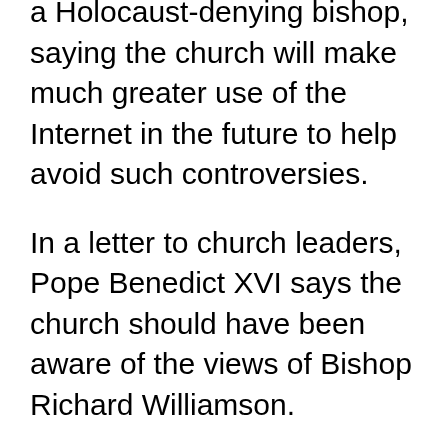a Holocaust-denying bishop, saying the church will make much greater use of the Internet in the future to help avoid such controversies.
In a letter to church leaders, Pope Benedict XVI says the church should have been aware of the views of Bishop Richard Williamson.
“I have been told that consulting the information available on the Internet would have made it possible to perceive the problem early on.